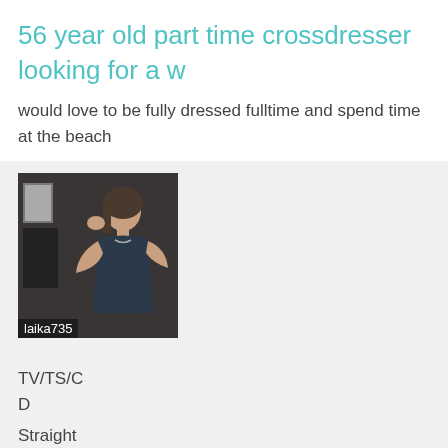56 year old part time crossdresser looking for a w
would love to be fully dressed fulltime and spend time at the beach
[Figure (photo): Photo of a person posing indoors with text overlay 'laika735']
TV/TS/CD
Straight
Male
Age: 25